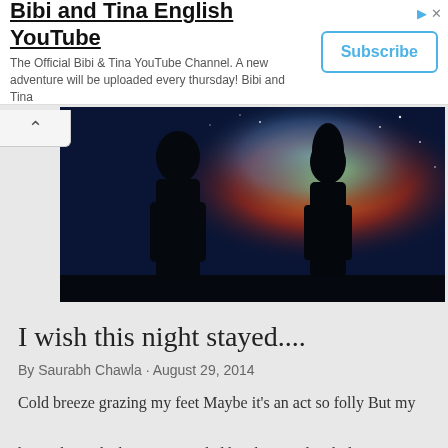[Figure (screenshot): Ad banner for Bibi and Tina English YouTube channel with Subscribe button]
[Figure (photo): Two silhouettes of people standing against a colorful night sky with orange and blue hues]
I wish this night stayed....
By Saurabh Chawla · August 29, 2014
Cold breeze grazing my feet Maybe it's an act so folly But my heart skipped a beat Surrounded by sheer melancholy Your